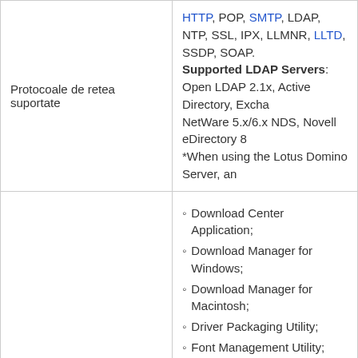|  |  |
| --- | --- |
| Protocoale de retea suportate | HTTP, POP, SMTP, LDAP, NTP, SSL, IPX, LLMNR, LLTD, SSDP, SOAP.
Supported LDAP Servers:
Open LDAP 2.1x, Active Directory, Excha...
NetWare 5.x/6.x NDS, Novell eDirectory 8...
*When using the Lotus Domino Server, an... |
| Management documente | Download Center Application;
Download Manager for Windows;
Download Manager for Macintosh;
Driver Packaging Utility;
Font Management Utility;
HDD Backup Utility;
Log Management Utility;
PageScope Box Operator;
PageScope Data Administrator;
PageScope Direct Print;
PageScope Net Care Device Manager;
PageScope Net Care Device Manager Plu...
Print Status Notifier. |
|  | Standard: |